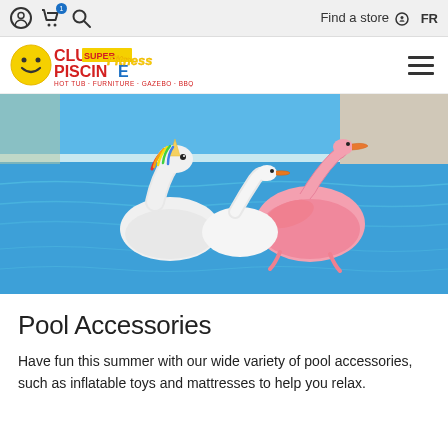Find a store  FR
[Figure (logo): Club Piscine Super Fitness logo with yellow smiley face and red/yellow/blue text, subtitle: HOT TUB · FURNITURE · GAZEBO · BBQ]
[Figure (photo): Inflatable pool toys — unicorn, swan, and pink flamingo floats in a blue outdoor swimming pool]
Pool Accessories
Have fun this summer with our wide variety of pool accessories, such as inflatable toys and mattresses to help you relax.